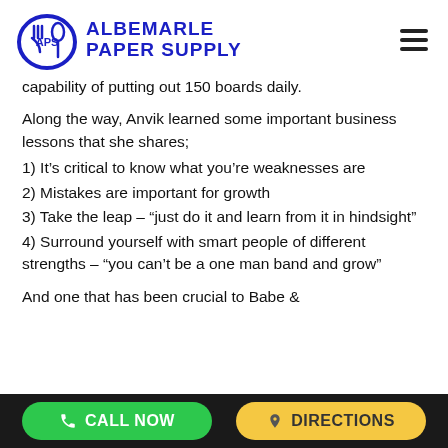ALBEMARLE PAPER SUPPLY
capability of putting out 150 boards daily.
Along the way, Anvik learned some important business lessons that she shares;
1) It’s critical to know what you’re weaknesses are
2) Mistakes are important for growth
3) Take the leap – “just do it and learn from it in hindsight”
4) Surround yourself with smart people of different strengths – “you can’t be a one man band and grow”
And one that has been crucial to Babe &
CALL NOW   DIRECTIONS